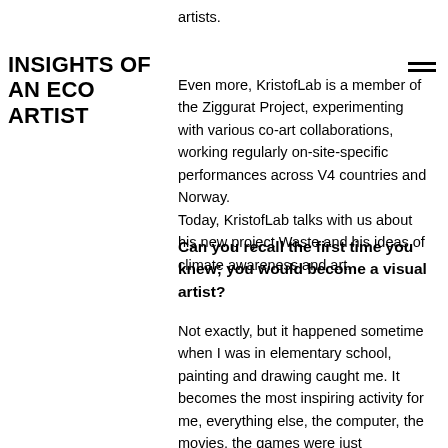INSIGHTS OF AN ECO ARTIST
artists.
Even more, KristofLab is a member of the Ziggurat Project, experimenting with various co-art collaborations, working regularly on-site-specific performances across V4 countries and Norway.
Today, KristofLab talks with us about his new project Waste and his ideas of climate awareness and art.
Can you recall the first time you knew; you would become a visual artist?
Not exactly, but it happened sometime when I was in elementary school, painting and drawing caught me. It becomes the most inspiring activity for me, everything else, the computer, the movies, the games were just recreation. I've always been interested in creating